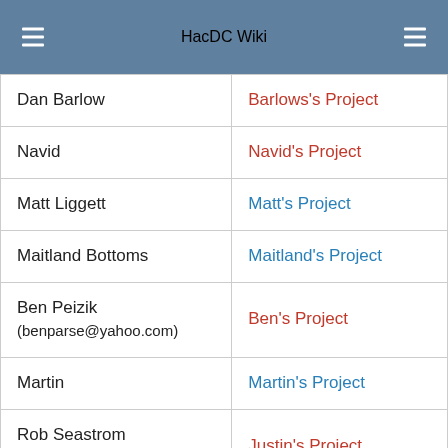HacDC Wiki
| Name | Project |
| --- | --- |
| Dan Barlow | Barlows's Project |
| Navid | Navid's Project |
| Matt Liggett | Matt's Project |
| Maitland Bottoms | Maitland's Project |
| Ben Peizik
(benparse@yahoo.com) | Ben's Project |
| Martin | Martin's Project |
| Rob Seastrom
(rs@seastrom.com) | Justin's Project |
| Phillip Stewart | Phillip's Project |
| Tim E |  |